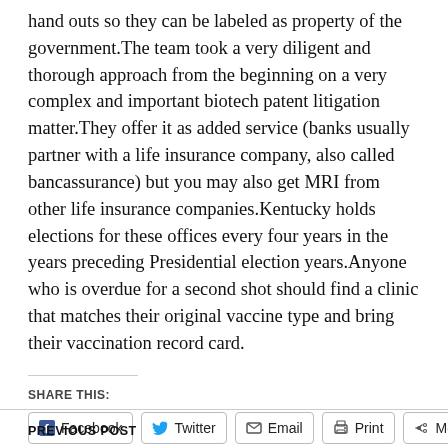hand outs so they can be labeled as property of the government.The team took a very diligent and thorough approach from the beginning on a very complex and important biotech patent litigation matter.They offer it as added service (banks usually partner with a life insurance company, also called bancassurance) but you may also get MRI from other life insurance companies.Kentucky holds elections for these offices every four years in the years preceding Presidential election years.Anyone who is overdue for a second shot should find a clinic that matches their original vaccine type and bring their vaccination record card.
SHARE THIS:
Facebook | Twitter | Email | Print | More
PREVIOUS POST